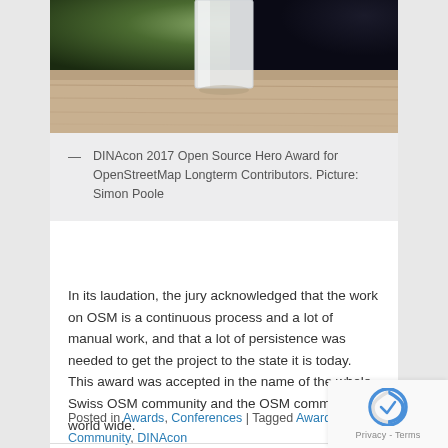[Figure (photo): Photo of a white frosted glass award trophy sitting on a wooden/stone surface with green blurred background]
— DINAcon 2017 Open Source Hero Award for OpenStreetMap Longterm Contributors. Picture: Simon Poole
In its laudation, the jury acknowledged that the work on OSM is a continuous process and a lot of manual work, and that a lot of persistence was needed to get the project to the state it is today. This award was accepted in the name of the whole Swiss OSM community and the OSM community world wide.
Posted in Awards, Conferences | Tagged Award, Community, DINAcon